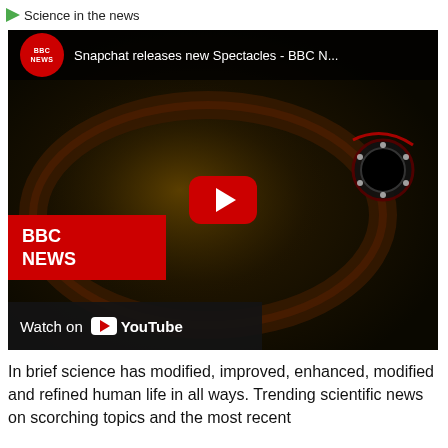Science in the news
[Figure (screenshot): YouTube video thumbnail showing BBC News video titled 'Snapchat releases new Spectacles - BBC N...' with a close-up of dark Snapchat Spectacles glasses, a red YouTube play button in the center, a BBC NEWS logo overlay in the bottom left, and a 'Watch on YouTube' bar at the bottom.]
In brief science has modified, improved, enhanced, modified and refined human life in all ways. Trending scientific news on scorching topics and the most recent